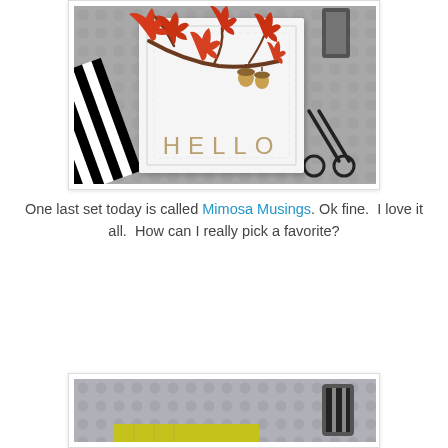[Figure (photo): A handmade greeting card with autumn oak leaf and acorn design on a branch, with 'HELLO' text, placed on a gray background with black and white striped ribbon and scissors]
One last set today is called Mimosa Musings. Ok fine.  I love it all.  How can I really pick a favorite?
[Figure (photo): Partial view of a crafting scene with yellow and green patterned paper and a black and white spool of ribbon on a dotted gray background]